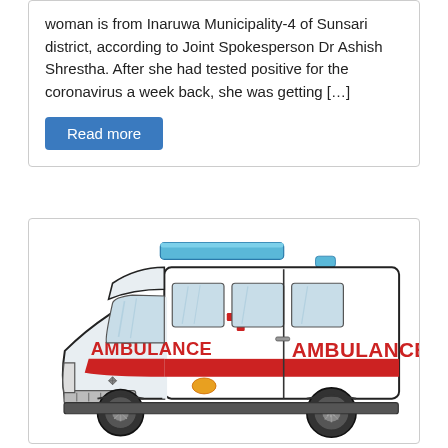woman is from Inaruwa Municipality-4 of Sunsari district, according to Joint Spokesperson Dr Ashish Shrestha. After she had tested positive for the coronavirus a week back, she was getting […]
Read more
[Figure (illustration): Cartoon illustration of an ambulance vehicle viewed from a 3/4 front angle. The ambulance is white with red stripes and the word AMBULANCE written in red on the hood and side. It has a blue light bar on top and a red cross symbol on the front door area.]